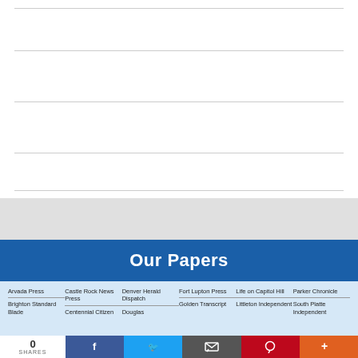Our Papers
Arvada Press
Brighton Standard Blade
Castle Rock News Press
Centennial Citizen
Denver Herald Dispatch
Douglas
Fort Lupton Press
Golden Transcript
Life on Capitol Hill
Littleton Independent
Parker Chronicle
South Platte Independent
0 SHARES